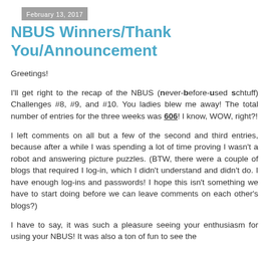February 13, 2017
NBUS Winners/Thank You/Announcement
Greetings!
I'll get right to the recap of the NBUS (never-before-used schtuff) Challenges #8, #9, and #10. You ladies blew me away! The total number of entries for the three weeks was 606! I know, WOW, right?!
I left comments on all but a few of the second and third entries, because after a while I was spending a lot of time proving I wasn't a robot and answering picture puzzles. (BTW, there were a couple of blogs that required I log-in, which I didn't understand and didn't do. I have enough log-ins and passwords! I hope this isn't something we have to start doing before we can leave comments on each other's blogs?)
I have to say, it was such a pleasure seeing your enthusiasm for using your NBUS! It was also a ton of fun to see the